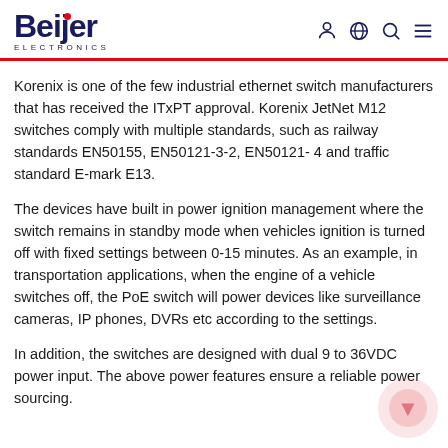Beijer Electronics
Korenix is one of the few industrial ethernet switch manufacturers that has received the ITxPT approval. Korenix JetNet M12 switches comply with multiple standards, such as railway standards EN50155, EN50121-3-2, EN50121-4 and traffic standard E-mark E13.
The devices have built in power ignition management where the switch remains in standby mode when vehicles ignition is turned off with fixed settings between 0-15 minutes. As an example, in transportation applications, when the engine of a vehicle switches off, the PoE switch will power devices like surveillance cameras, IP phones, DVRs etc according to the settings.
In addition, the switches are designed with dual 9 to 36VDC power input. The above power features ensure a reliable power sourcing.